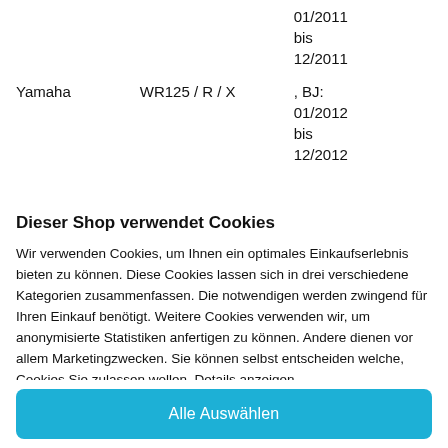| Marke | Modell | Details |
| --- | --- | --- |
|  |  | 01/2011
bis
12/2011 |
| Yamaha | WR125 / R / X | , BJ:
01/2012
bis
12/2012 |
Dieser Shop verwendet Cookies
Wir verwenden Cookies, um Ihnen ein optimales Einkaufserlebnis bieten zu können. Diese Cookies lassen sich in drei verschiedene Kategorien zusammenfassen. Die notwendigen werden zwingend für Ihren Einkauf benötigt. Weitere Cookies verwenden wir, um anonymisierte Statistiken anfertigen zu können. Andere dienen vor allem Marketingzwecken. Sie können selbst entscheiden welche, Cookies Sie zulassen wollen. Details anzeigen
Alle Auswählen